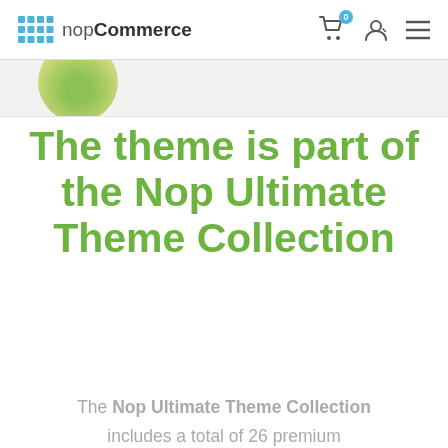nopCommerce
[Figure (photo): Partial product image showing green leaf/plant at top of content area]
The theme is part of the Nop Ultimate Theme Collection
The Nop Ultimate Theme Collection includes a total of 26 premium nopCommerce themes. Each theme in the collection comes with